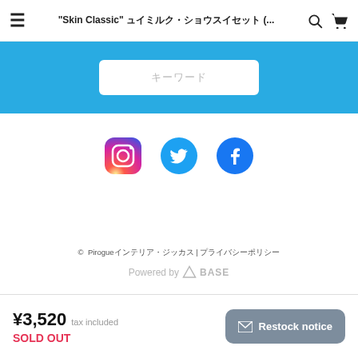"Skin Classic" ＵＶミルク・化粧水セット (... 🔍 🛒
[Figure (screenshot): Blue search/navigation banner with white input box containing Japanese placeholder text]
[Figure (infographic): Social media icons row: Instagram (gradient), Twitter (blue bird), Facebook (blue circle with f)]
© 　Pirogue　インテリア・雑貨　 | 　プライバシーポリシー
Powered by △BASE
¥3,520  tax included
SOLD OUT
✉ Restock notice